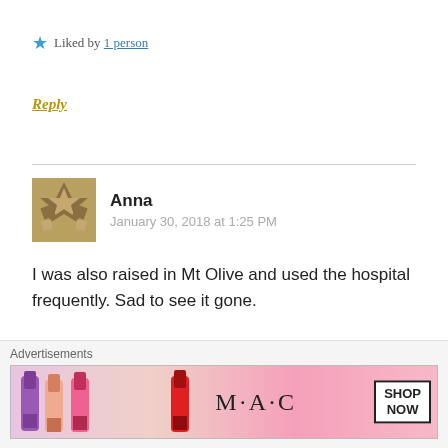★ Liked by 1 person
Reply
Anna
January 30, 2018 at 1:25 PM
I was also raised in Mt Olive and used the hospital frequently. Sad to see it gone.
★ Like
Advertisements